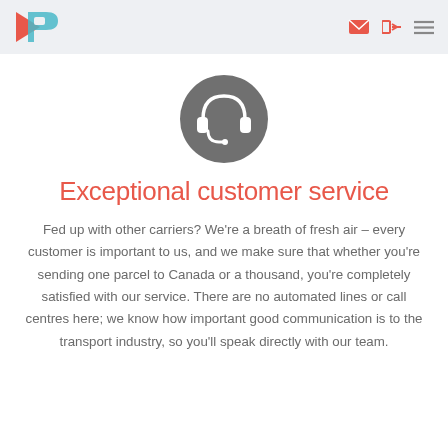[Logo] [mail icon] [login icon] [menu icon]
[Figure (illustration): Dark grey circle containing a white headset/customer service icon]
Exceptional customer service
Fed up with other carriers? We’re a breath of fresh air – every customer is important to us, and we make sure that whether you’re sending one parcel to Canada or a thousand, you’re completely satisfied with our service. There are no automated lines or call centres here; we know how important good communication is to the transport industry, so you’ll speak directly with our team.